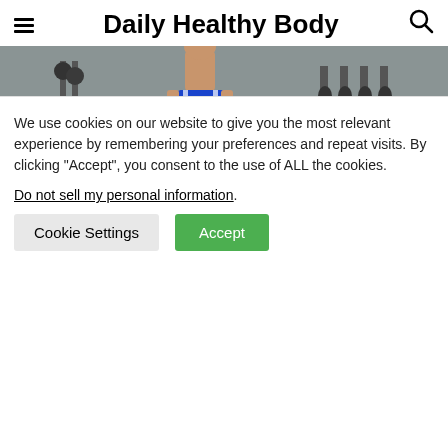Daily Healthy Body
[Figure (photo): Person in blue athletic shorts standing in a gym with weight racks in the background]
11. Side plank
The core strength exercise improves lateral hip
We use cookies on our website to give you the most relevant experience by remembering your preferences and repeat visits. By clicking “Accept”, you consent to the use of ALL the cookies. Do not sell my personal information.